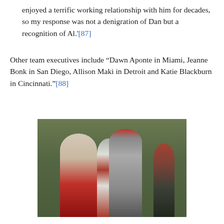enjoyed a terrific working relationship with him for decades, so my response was not a denigration of Dan but a recognition of Al.'[87]
Other team executives include “Dawn Aponte in Miami, Jeanne Bonk in San Diego, Allison Maki in Detroit and Katie Blackburn in Cincinnati.”[88]
[Figure (photo): A woman wearing an Arizona Cardinals jersey smiles while holding a football with a man in a red cap and grey long-sleeve shirt. Other players in Cardinals uniforms are visible in the background on a football field.]